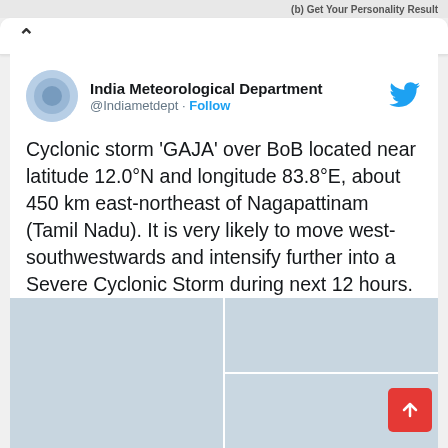(b) Get Your Personality Result
[Figure (screenshot): Twitter/X logo bird icon in blue]
India Meteorological Department
@Indiametdept · Follow
Cyclonic storm 'GAJA' over BoB located near latitude 12.0°N and longitude 83.8°E, about 450 km east-northeast of Nagapattinam (Tamil Nadu). It is very likely to move west-southwestwards and intensify further into a Severe Cyclonic Storm during next 12 hours.
[Figure (photo): Media grid showing two placeholder image tiles side by side, left tile full height, right column split into two tiles]